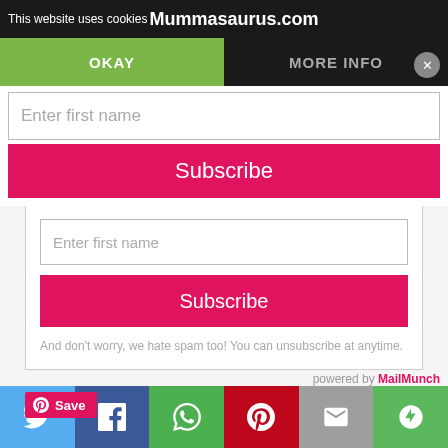This website uses cookies | Mummasaurus.com
OKAY | MORE INFO
[Figure (screenshot): Web form overlay with Enter first name input field and pink Subscribe button]
[Figure (screenshot): MailMunch subscription form with Enter first name input, pink Subscribe button, and spam disclaimer text]
powered by MailMunch
[Figure (screenshot): Pinterest Save button (red with P icon)]
[Figure (infographic): Social share bar with Twitter, Facebook, WhatsApp, Pinterest, Email, and More icons]